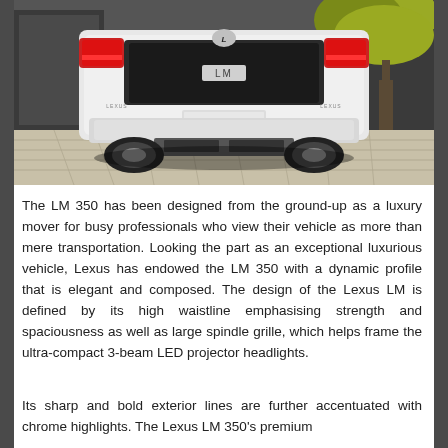[Figure (photo): Rear view of a white Lexus LM luxury minivan parked on a stone-paved driveway. The vehicle shows its rear with red taillights, Lexus logo, and 'LM' badging. A tree with autumn foliage is visible in the upper right, and a building facade is in the background.]
The LM 350 has been designed from the ground-up as a luxury mover for busy professionals who view their vehicle as more than mere transportation. Looking the part as an exceptional luxurious vehicle, Lexus has endowed the LM 350 with a dynamic profile that is elegant and composed. The design of the Lexus LM is defined by its high waistline emphasising strength and spaciousness as well as large spindle grille, which helps frame the ultra-compact 3-beam LED projector headlights.
Its sharp and bold exterior lines are further accentuated with chrome highlights. The Lexus LM 350's premium